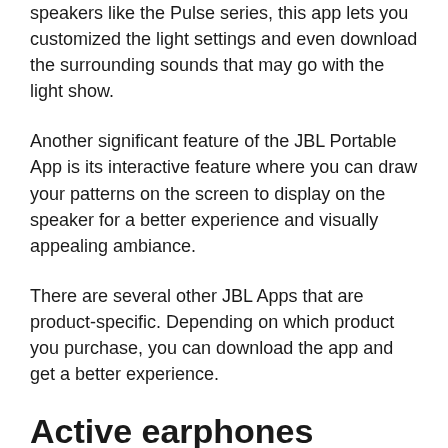speakers like the Pulse series, this app lets you customized the light settings and even download the surrounding sounds that may go with the light show.
Another significant feature of the JBL Portable App is its interactive feature where you can draw your patterns on the screen to display on the speaker for a better experience and visually appealing ambiance.
There are several other JBL Apps that are product-specific. Depending on which product you purchase, you can download the app and get a better experience.
Active earphones